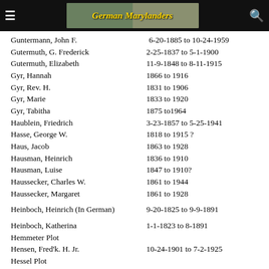German Marylanders
Guntermann, John F. | 6-20-1885 to 10-24-1959
Gutermuth, G. Frederick | 2-25-1837 to 5-1-1900
Gutermuth, Elizabeth | 11-9-1848 to 8-11-1915
Gyr, Hannah | 1866 to 1916
Gyr, Rev. H. | 1831 to 1906
Gyr, Marie | 1833 to 1920
Gyr, Tabitha | 1875 to1964
Haublein, Friedrich | 3-23-1857 to 5-25-1941
Hasse, George W. | 1818 to 1915 ?
Haus, Jacob | 1863 to 1928
Hausman, Heinrich | 1836 to 1910
Hausman, Luise | 1847 to 1910?
Haussecker, Charles W. | 1861 to 1944
Haussecker, Margaret | 1861 to 1928
Heinboch, Heinrich (In German) | 9-20-1825 to 9-9-1891
Heinboch, Katherina | 1-1-1823 to 8-1891
Hemmeter Plot
Hensen, Fred'k. H. Jr. | 10-24-1901 to 7-2-1925
Hessel Plot
Hoffner, George | 7-17-1838 to 10-14-1914